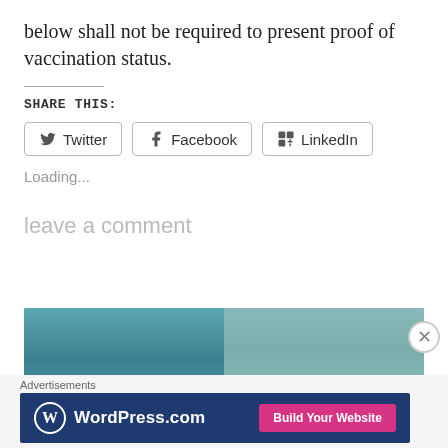below shall not be required to present proof of vaccination status.
SHARE THIS:
Twitter  Facebook  LinkedIn
Loading...
leave a comment
[Figure (photo): Blurred teal/blue photograph, possibly medical or institutional setting]
Advertisements
[Figure (logo): WordPress.com advertisement banner with Build Your Website button]